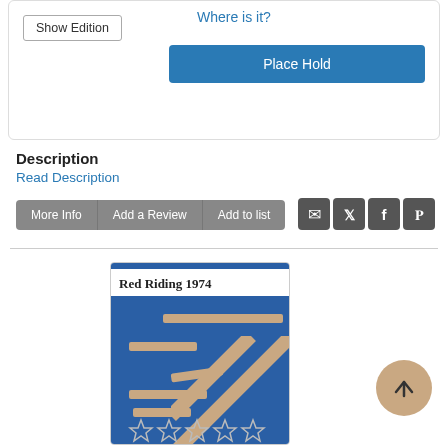Show Edition
Where is it?
Place Hold
Description
Read Description
More Info | Add a Review | Add to list
[Figure (illustration): Book cover for Red Riding 1974 with blue background and tan diagonal lines]
11) Red Riding 1974